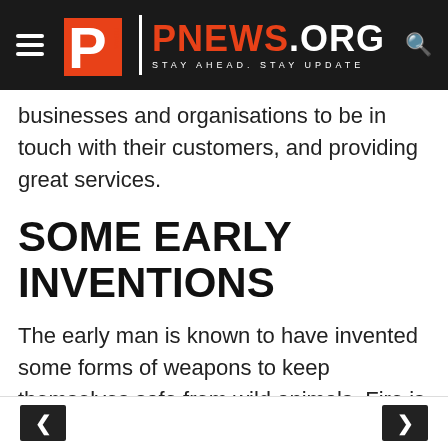PNEWS.ORG — STAY AHEAD. STAY UPDATE
businesses and organisations to be in touch with their customers, and providing great services.
SOME EARLY INVENTIONS
The early man is known to have invented some forms of weapons to keep themselves safe from wild animals. Fire is also known to have been invented through rubbing of stones with each other, producing sparks that eventually lit a fire.
< >